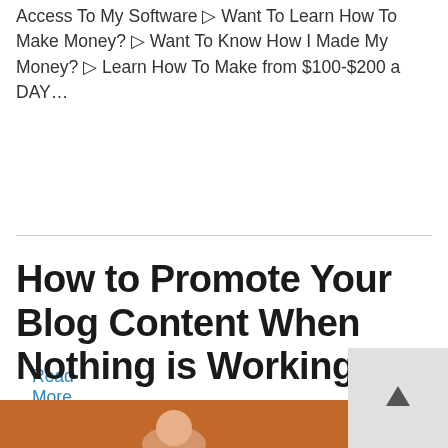Access To My Software ▷ Want To Learn How To Make Money? ▷ Want To Know How I Made My Money? ▷ Learn How To Make from $100-$200 a DAY…
Read More
How to Promote Your Blog Content When Nothing is Working
By | 13 💬
[Figure (photo): Orange/brown background with partial view of a person, cropped at bottom of page]